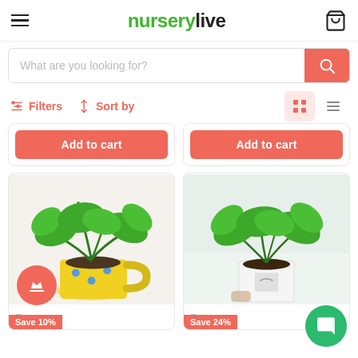nurserylive
What are you looking for?
Filters  Sort by
[Figure (screenshot): Two 'Add to cart' buttons partially visible from previous product cards]
[Figure (photo): Pothos plant in yellow polka-dot mug with 'Save 10%' badge. Price ₹449 shown with strikethrough.]
Save 10%
₹449
[Figure (photo): Green plant in white square pot with 'Save 24%' badge. Price ₹591 shown with strikethrough.]
Save 24%
₹591